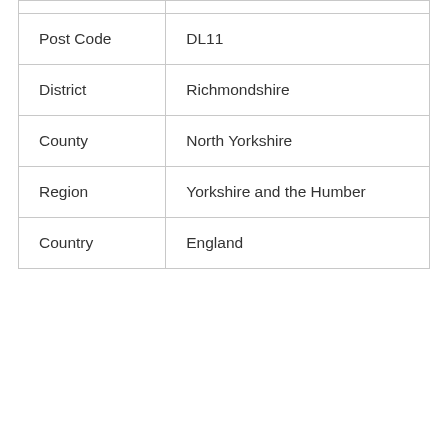| Post Code | DL11 |
| District | Richmondshire |
| County | North Yorkshire |
| Region | Yorkshire and the Humber |
| Country | England |